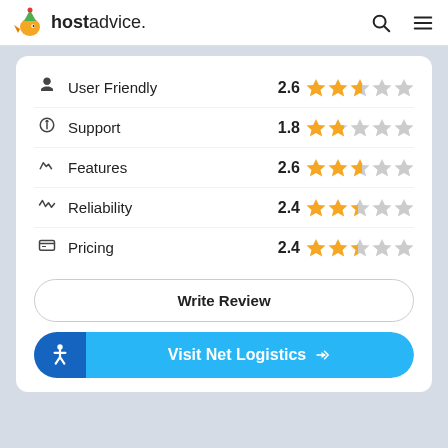hostadvice.
User Friendly 2.6 (2.6 out of 5 stars)
Support 1.8 (1.8 out of 5 stars)
Features 2.6 (2.6 out of 5 stars)
Reliability 2.4 (2.4 out of 5 stars)
Pricing 2.4 (2.4 out of 5 stars)
Write Review
Visit Net Logistics